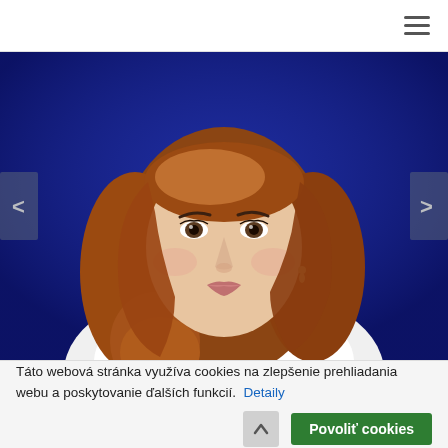≡ (hamburger menu icon)
[Figure (photo): Portrait photo of a woman with reddish-brown shoulder-length hair, wearing a white shirt, photographed against a blue background. Navigation arrows (< >) on left and right sides of the image slider.]
Táto webová stránka využíva cookies na zlepšenie prehliadania webu a poskytovanie ďalších funkcií.  Detaily
Povoliť cookies